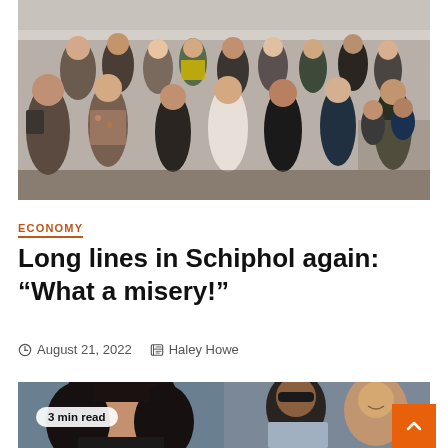[Figure (photo): Crowd of people at Schiphol airport, including a worker in a yellow vest, many travelers with bags in a busy terminal area.]
ECONOMY
Long lines in Schiphol again: “What a misery!”
August 21, 2022  Haley Howe
[Figure (photo): Left side: young woman with dark hair posing. Right side: couple smiling, man with sunglasses and beard kissing woman's cheek. Badge reads '3 min read'.]